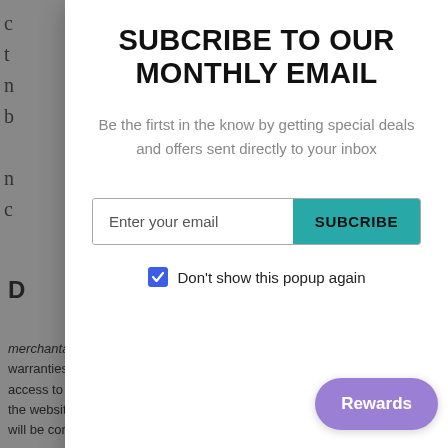[Figure (screenshot): Website subscription popup modal overlay on a dimmed background page. The modal contains a bold title 'SUBCRIBE TO OUR MONTHLY EMAIL', descriptive text, an email input field with a teal SUBCRIBE button, and a checked checkbox labeled 'Don't show this popup again'. A purple Rewards button appears in the bottom right corner.]
SUBCRIBE TO OUR MONTHLY EMAIL
Be the firtst in the know by getting special deals and offers sent directly to your inbox
Enter your email  [SUBCRIBE button]
Don't show this popup again